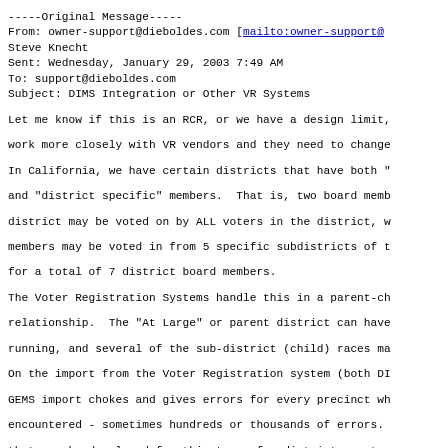-----Original Message-----
From: owner-support@dieboldes.com [mailto:owner-support@...
Steve Knecht
Sent: Wednesday, January 29, 2003 7:49 AM
To: support@dieboldes.com
Subject: DIMS Integration or Other VR Systems
Let me know if this is an RCR, or we have a design limit,
work more closely with VR vendors and they need to change
In California, we have certain districts that have both "
and "district specific" members.  That is, two board memb
district may be voted on by ALL voters in the district, w
members may be voted in from 5 specific subdistricts of t
for a total of 7 district board members.
The Voter Registration Systems handle this in a parent-ch
relationship.  The "At Large" or parent district can have
running, and several of the sub-district (child) races ma
On the import from the Voter Registration system (both DI
GEMS import chokes and gives errors for every precinct wh
encountered - sometimes hundreds or thousands of errors.
that can be developed for this type of a district, part o
would allow this sort of thing, or are we restricted with
understand the benefits of the way we do it from the stan
problems.  But if there were a flag in the import that th
type was an "at large" district and allowed both district
sub-district races to run in an election, we would still
integrity.  Conversely, we could force the VR systems to